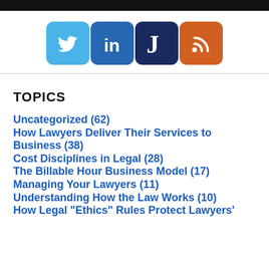[Figure (illustration): Four social media icons in a row: Twitter (blue bird), LinkedIn (blue 'in'), Justia (dark blue 'J'), and RSS feed (orange wifi symbol)]
TOPICS
Uncategorized (62)
How Lawyers Deliver Their Services to Business (38)
Cost Disciplines in Legal (28)
The Billable Hour Business Model (17)
Managing Your Lawyers (11)
Understanding How the Law Works (10)
How Legal "Ethics" Rules Protect Lawyers'